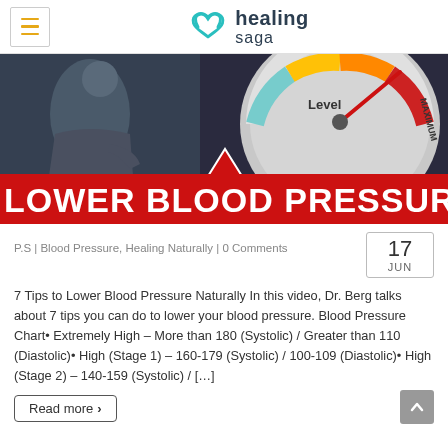healing saga
[Figure (photo): Hero image showing a man in a blue shirt alongside a gauge meter pointing to maximum level, with a red banner reading LOWER BLOOD PRESSURE]
P.S | Blood Pressure, Healing Naturally | 0 Comments
17 JUN
7 Tips to Lower Blood Pressure Naturally In this video, Dr. Berg talks about 7 tips you can do to lower your blood pressure. Blood Pressure Chart• Extremely High – More than 180 (Systolic) / Greater than 110 (Diastolic)• High (Stage 1) – 160-179 (Systolic) / 100-109 (Diastolic)• High (Stage 2) – 140-159 (Systolic) / […]
Read more >